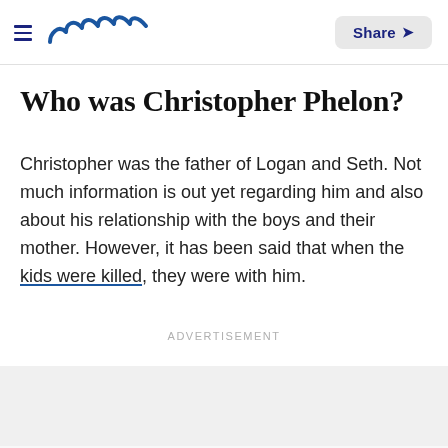meaww | Share
Who was Christopher Phelon?
Christopher was the father of Logan and Seth. Not much information is out yet regarding him and also about his relationship with the boys and their mother. However, it has been said that when the kids were killed, they were with him.
ADVERTISEMENT